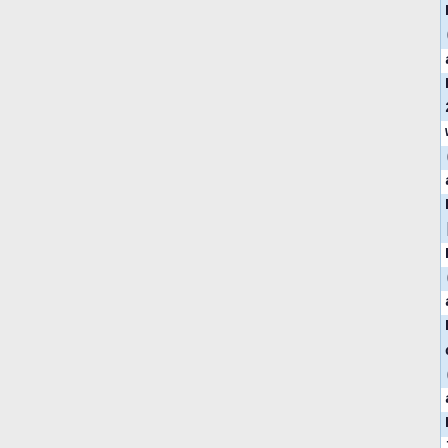Keg (PolyUrethane Pellets)|32px|alt=Powder Keg (PolyUrethane Pellets)|[[Powder Keg (PolyUrethane Pellets)|Powder Keg (PolyUrethane Pellets)]]]
[[Powder Keg (PolyUreth